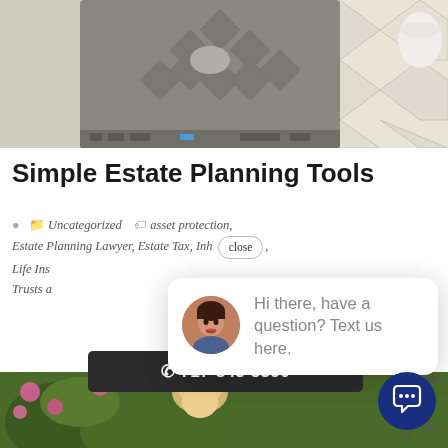[Figure (photo): Top-down view of a closed laptop on a patterned stone or tile surface, photographed from above. The laptop has a decorative diamond pattern on its lid.]
Simple Estate Planning Tools
Uncategorized   asset protection, Estate Planning Lawyer, Estate Tax, Inh[erited IRA], Life Ins[urance], Trusts a[nd Wills]
[Figure (screenshot): Chat popup overlay showing a woman's avatar photo and the text: Hi there, have a question? Text us here. A 'close' button appears near the top right of the popup.]
[Figure (photo): Bottom portion of an outdoor photo showing a young child with light blonde hair among greenery and pink flowers.]
📞 717-845-5390